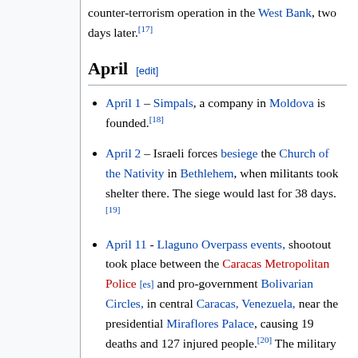counter-terrorism operation in the West Bank, two days later.[17]
April [edit]
April 1 – Simpals, a company in Moldova is founded.[18]
April 2 – Israeli forces besiege the Church of the Nativity in Bethlehem, when militants took shelter there. The siege would last for 38 days.[19]
April 11 - Llaguno Overpass events, shootout took place between the Caracas Metropolitan Police [es] and pro-government Bolivarian Circles, in central Caracas, Venezuela, near the presidential Miraflores Palace, causing 19 deaths and 127 injured people.[20] The military high command refused Chávez's order to implement the Plan Ávila as a